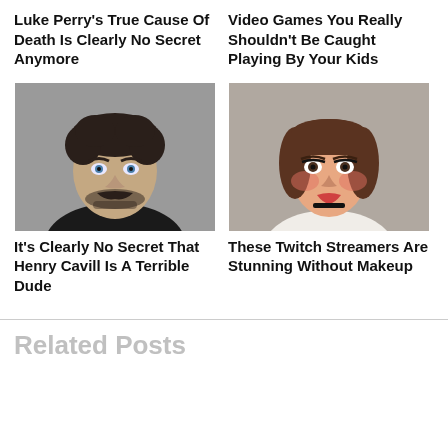Luke Perry's True Cause Of Death Is Clearly No Secret Anymore
Video Games You Really Shouldn't Be Caught Playing By Your Kids
[Figure (photo): Headshot of a man with dark curly hair and a mustache/beard, wearing dark clothing]
[Figure (photo): Headshot of a young woman with brown hair, wearing makeup and a white top]
It's Clearly No Secret That Henry Cavill Is A Terrible Dude
These Twitch Streamers Are Stunning Without Makeup
Related Posts